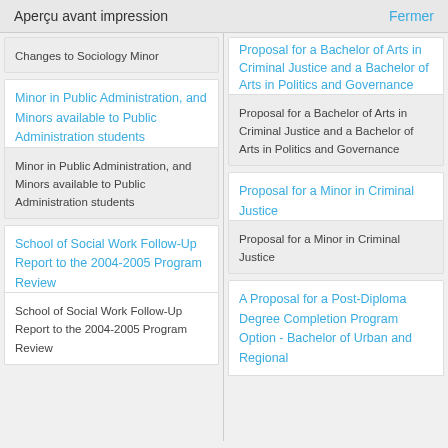Aperçu avant impression   Fermer
Changes to Sociology Minor
Minor in Public Administration, and Minors available to Public Administration students
Minor in Public Administration, and Minors available to Public Administration students
School of Social Work Follow-Up Report to the 2004-2005 Program Review
School of Social Work Follow-Up Report to the 2004-2005 Program Review
Proposal for a Bachelor of Arts in Criminal Justice and a Bachelor of Arts in Politics and Governance
Proposal for a Bachelor of Arts in Criminal Justice and a Bachelor of Arts in Politics and Governance
Proposal for a Minor in Criminal Justice
Proposal for a Minor in Criminal Justice
A Proposal for a Post-Diploma Degree Completion Program Option - Bachelor of Urban and Regional